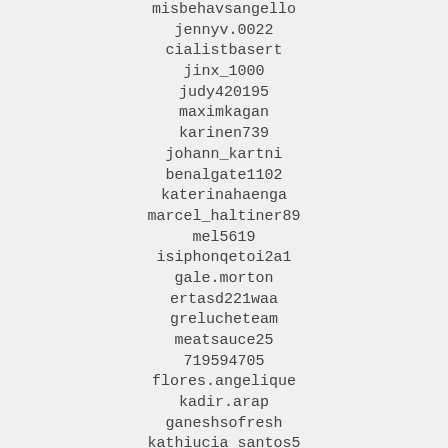misbehavsangello
jennyv.0022
cialistbasert
jinx_1000
judy420195
maximkagan
karinen739
johann_kartni
benalgate1102
katerinahaenga
marcel_haltiner89
mel5619
isiphonqetoi2a1
gale.morton
ertasd221waa
grelucheteam
meatsauce25
719594705
flores.angelique
kadir.arap
ganeshsofresh
kathiucia_santos5
abbyawesomegrl
jakobschumann
camrvnsmommy19